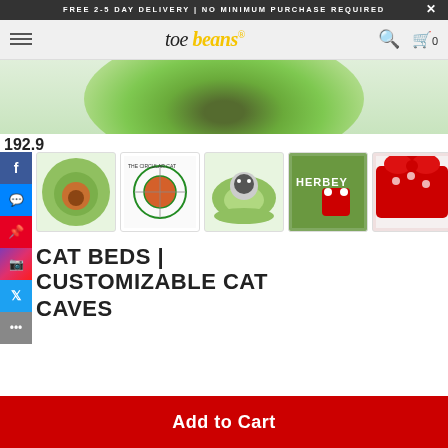FREE 2-5 DAY DELIVERY | NO MINIMUM PURCHASE REQUIRED
[Figure (screenshot): Toe Beans website navigation bar with hamburger menu, toe beans logo, search icon and cart icon showing 0 items]
[Figure (photo): Close-up hero product image showing green grass cat cave bed from above]
192.9
[Figure (photo): Thumbnail 1: green grass circular cat cave bed from above]
[Figure (photo): Thumbnail 2: diagram/blueprint of the customizable cat cave with measurements]
[Figure (photo): Thumbnail 3: black and white cat sitting inside the green grass cat cave bed]
[Figure (photo): Thumbnail 4: green cat cave with red bow ribbon decoration]
[Figure (photo): Thumbnail 5: partial view of cat cave with red bow ribbon]
CAT BEDS | CUSTOMIZABLE CAT CAVES
Add to Cart